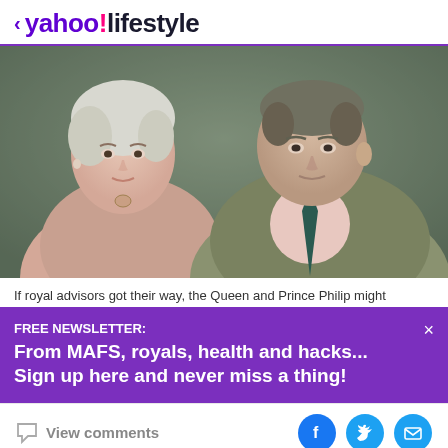< yahoo!lifestyle
[Figure (photo): Portrait photo of Queen Elizabeth II and Prince Philip side by side, smiling at the camera. The Queen is on the left wearing a light pink outfit, Prince Philip is on the right wearing a grey-green tweed jacket with a dark teal tie.]
If royal advisors got their way, the Queen and Prince Philip might
FREE NEWSLETTER:
From MAFS, royals, health and hacks... Sign up here and never miss a thing!
View comments